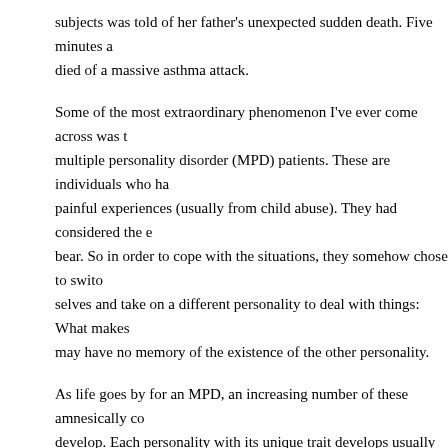subjects was told of her father's unexpected sudden death. Five minutes a died of a massive asthma attack.
Some of the most extraordinary phenomenon I've ever come across was multiple personality disorder (MPD) patients. These are individuals who ha painful experiences (usually from child abuse). They had considered the e bear. So in order to cope with the situations, they somehow chose to swito selves and take on a different personality to deal with things: What makes may have no memory of the existence of the other personality.
As life goes by for an MPD, an increasing number of these amnesically co develop. Each personality with its unique trait develops usually to deal wit painful situations.
-Some of the things that have happened with these individuals are extraor minds can affect their behaviour to such an extent that it defies the very na
For examples, from studies, one MPD patient has been known to produce diabetes. Then, when switching to another personality, become normal in
Another MPD was known to have one personality that was belligerent in